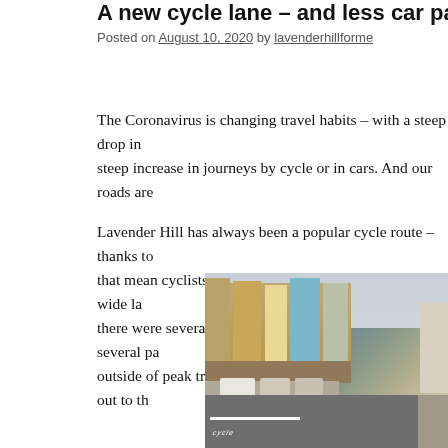A new cycle lane – and less car parking –
Posted on August 10, 2020 by lavenderhillforme
The Coronavirus is changing travel habits – with a steep drop in... steep increase in journeys by cycle or in cars. And our roads are...
Lavender Hill has always been a popular cycle route – thanks to... that mean cyclists aren't always dodging cars, and fairly wide la... there were several long gaps in the bus lanes, as well several pa... outside of peak travel hours) where cyclists had to steer out to th...
[Figure (photo): Street photo of Lavender Hill showing a road with a cycle lane marking, parked cars, shops and buildings on the left side, and a bollard on the right.]